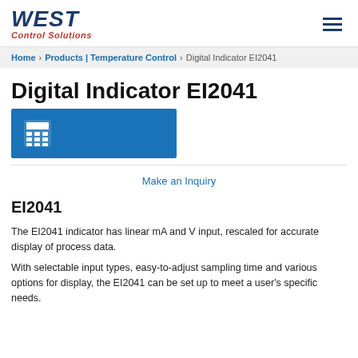WEST Control Solutions
Home > Products | Temperature Control > Digital Indicator EI2041
Digital Indicator EI2041
[Figure (other): Blue calculator icon button banner]
Make an Inquiry
EI2041
The EI2041 indicator has linear mA and V input, rescaled for accurate display of process data.
With selectable input types, easy-to-adjust sampling time and various options for display, the EI2041 can be set up to meet a user's specific needs.